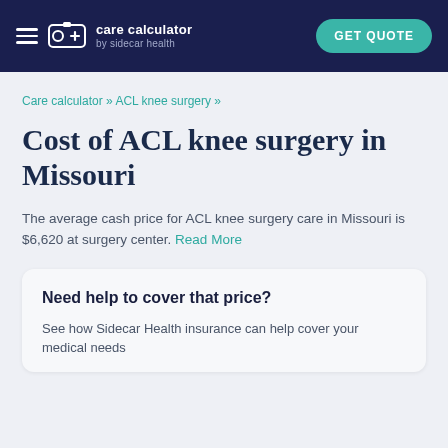care calculator by sidecar health | GET QUOTE
Care calculator » ACL knee surgery »
Cost of ACL knee surgery in Missouri
The average cash price for ACL knee surgery care in Missouri is $6,620 at surgery center. Read More
Need help to cover that price?
See how Sidecar Health insurance can help cover your medical needs